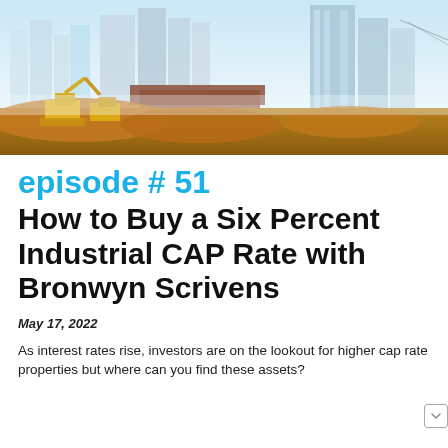[Figure (photo): Construction site with excavators and dirt mounds in foreground, modern glass skyscrapers and city skyline in background under blue sky]
episode # 51
How to Buy a Six Percent Industrial CAP Rate with Bronwyn Scrivens
May 17, 2022
As interest rates rise, investors are on the lookout for higher cap rate properties but where can you find these assets?